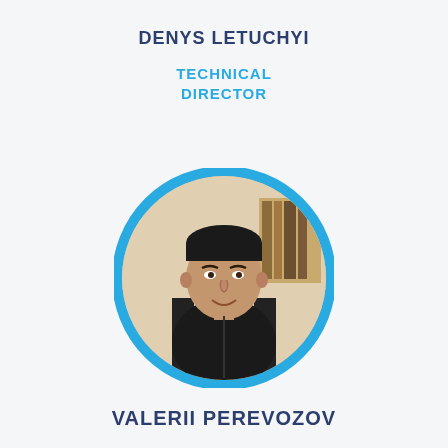DENYS LETUCHYI
TECHNICAL DIRECTOR
[Figure (photo): Circular framed portrait photo of Denys Letuchyi, a young man with short dark hair wearing a black hoodie, seated indoors with a bookshelf visible in the background. The photo has a cyan/light blue circular border.]
VALERII PEREVOZOV